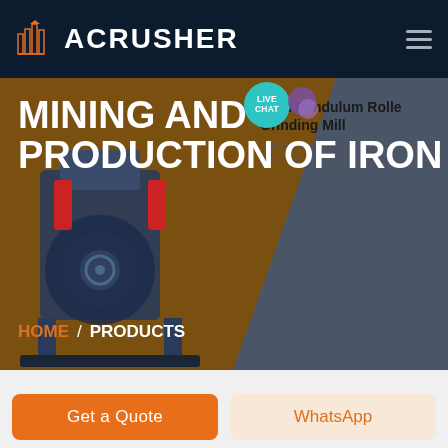[Figure (logo): ACRUSHER logo with orange building/factory icon on dark navy header bar]
[Figure (screenshot): Hero section showing industrial mining machine (MRN Pendulum Roller Grinding Mill) on brown/gray background with large white text overlay]
MINING AND PRODUCTION OF IRON
MRN Pendulum Roller Grinding Mill
...on and excellent environmental protection and output finished products
HOME / PRODUCTS
Get a Quote
WhatsApp